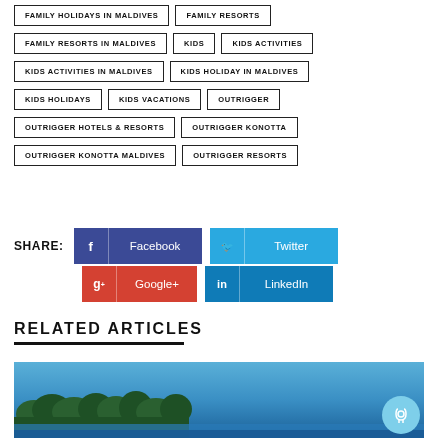FAMILY HOLIDAYS IN MALDIVES
FAMILY RESORTS
FAMILY RESORTS IN MALDIVES
KIDS
KIDS ACTIVITIES
KIDS ACTIVITIES IN MALDIVES
KIDS HOLIDAY IN MALDIVES
KIDS HOLIDAYS
KIDS VACATIONS
OUTRIGGER
OUTRIGGER HOTELS & RESORTS
OUTRIGGER KONOTTA
OUTRIGGER KONOTTA MALDIVES
OUTRIGGER RESORTS
SHARE: Facebook Twitter Google+ LinkedIn
RELATED ARTICLES
[Figure (photo): Aerial or coastal view of a tropical island with lush green vegetation and blue ocean water]